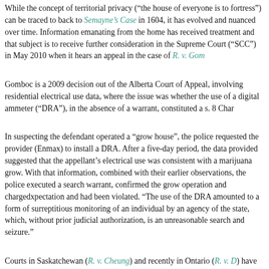While the concept of territorial privacy ("the house of everyone is to fortress") can be traced to back to Semayne's Case in 1604, it has evolved and nuanced over time. Information emanating from the home has received treatment and that subject is to receive further consideration in the Supreme Court ("SCC") in May 2010 when it hears an appeal in the case of R. v. Gomboc.
Gomboc is a 2009 decision out of the Alberta Court of Appeal, involving residential electrical use data, where the issue was whether the use of a digital ammeter ("DRA"), in the absence of a warrant, constituted a s. 8 Charter violation.
In suspecting the defendant operated a "grow house", the police requested the provider (Enmax) to install a DRA. After a five-day period, the data provided suggested that the appellant's electrical use was consistent with a marijuana grow. With that information, combined with their earlier observations, the police executed a search warrant, confirmed the grow operation and charged the defendant.
In a split decision, the Court held that the defendant had a reasonable expectation and had been violated. "The use of the DRA amounted to a form of surreptitious monitoring of an individual by an agency of the state, which, without prior judicial authorization, is an unreasonable search and seizure."
Courts in Saskatchewan (R. v. Cheung) and recently in Ontario (R. v. D...) have concluded that the use of a DRA without prior judicial authorization does violate an individual's s. 8 Charter rights. The issue of privacy in electricity records had been addressed by the Supreme Court in 1993 in R. v. Plant, where collection of data from utility records was decided to not be a s. 8 violation (though arguably different on the facts in Gomboc because of the use of the DRA as opposed to raw utility data).